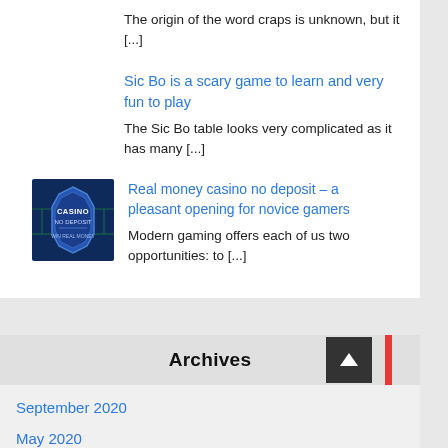The origin of the word craps is unknown, but it [...]
Sic Bo is a scary game to learn and very fun to play
The Sic Bo table looks very complicated as it has many [...]
[Figure (photo): Casino No Deposit – Win Real Money badge/logo image on dark blue background]
Real money casino no deposit – a pleasant opening for novice gamers
Modern gaming offers each of us two opportunities: to [...]
Archives
September 2020
May 2020
July 2019